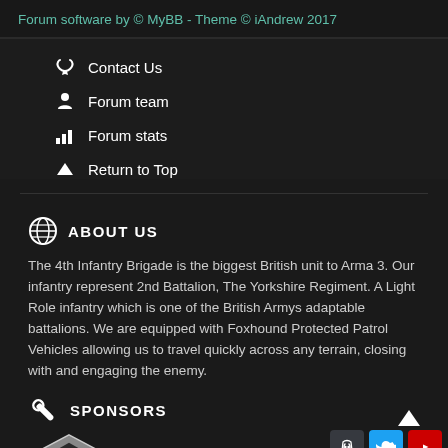Forum software by © MyBB - Theme © iAndrew 2017
Contact Us
Forum team
Forum stats
Return to Top
ABOUT US
The 4th Infantry Brigade is the biggest British unit to Arma 3. Our infantry represent 2nd Battalion, The Yorkshire Regiment. A Light Role infantry which is one of the British Armys adaptable battalions. We are equipped with Foxhound Protected Patrol Vehicles allowing us to travel quickly across any terrain, closing with and engaging the enemy.
SPONSORS
[Figure (logo): ArmaHosts logo - hexagonal red and silver emblem with letter H, and text ARMAHOSTS with TM mark]